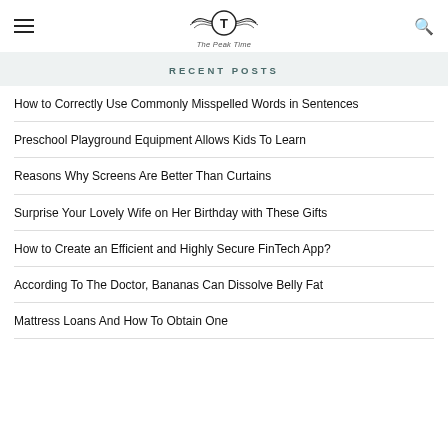The Peak Time
RECENT POSTS
How to Correctly Use Commonly Misspelled Words in Sentences
Preschool Playground Equipment Allows Kids To Learn
Reasons Why Screens Are Better Than Curtains
Surprise Your Lovely Wife on Her Birthday with These Gifts
How to Create an Efficient and Highly Secure FinTech App?
According To The Doctor, Bananas Can Dissolve Belly Fat
Mattress Loans And How To Obtain One